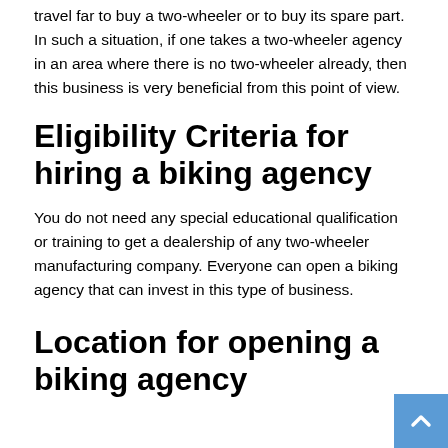travel far to buy a two-wheeler or to buy its spare part. In such a situation, if one takes a two-wheeler agency in an area where there is no two-wheeler already, then this business is very beneficial from this point of view.
Eligibility Criteria for hiring a biking agency
You do not need any special educational qualification or training to get a dealership of any two-wheeler manufacturing company. Everyone can open a biking agency that can invest in this type of business.
Location for opening a biking agency